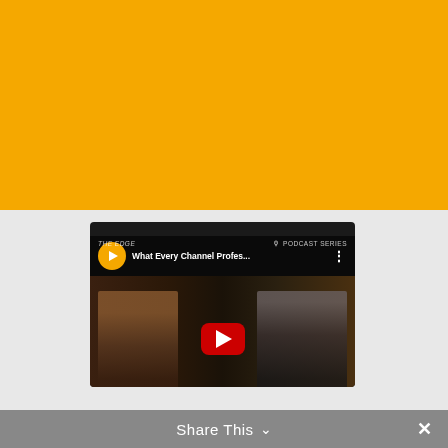[Figure (screenshot): Orange banner background at top of page]
[Figure (screenshot): YouTube video thumbnail showing two people (a woman on the left and a man on the right) with a red play button overlay. Video title reads 'What Every Channel Profes...' with a podcast series logo and orange/yellow branding icon. Background shows 'EDGE' and 'PODCAST SERIES' text.]
Share This ∨  ✕